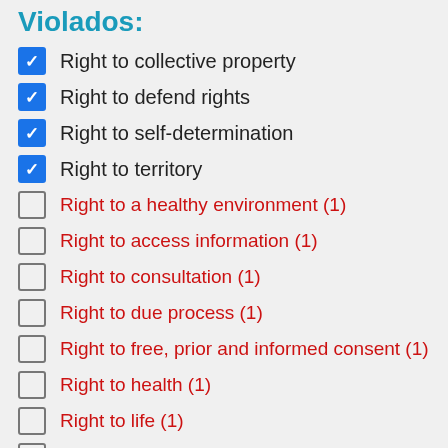Violados:
Right to collective property
Right to defend rights
Right to self-determination
Right to territory
Right to a healthy environment (1)
Right to access information (1)
Right to consultation (1)
Right to due process (1)
Right to free, prior and informed consent (1)
Right to health (1)
Right to life (1)
Right to natural resources (1)
Right to private property (1)
Right to safety and personal integrity (1)
Right to water (1)